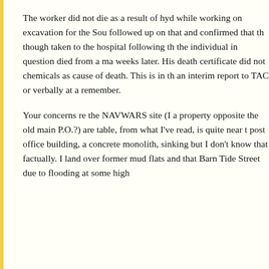The worker did not die as a result of hyd while working on excavation for the Sou followed up on that and confirmed that th though taken to the hospital following th the individual in question died from a ma weeks later. His death certificate did not chemicals as cause of death. This is in th an interim report to TAC or verbally at a remember.
Your concerns re the NAVWARS site (I a property opposite the old main P.O.?) are table, from what I've read, is quite near t post office building, a concrete monolith, sinking but I don't know that factually. I land over former mud flats and that Barn Tide Street due to flooding at some high